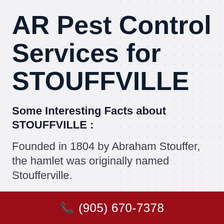AR Pest Control Services for STOUFFVILLE
Some Interesting Facts about STOUFFVILLE :
Founded in 1804 by Abraham Stouffer, the hamlet was originally named Stoufferville.
📞 (905) 670-7378